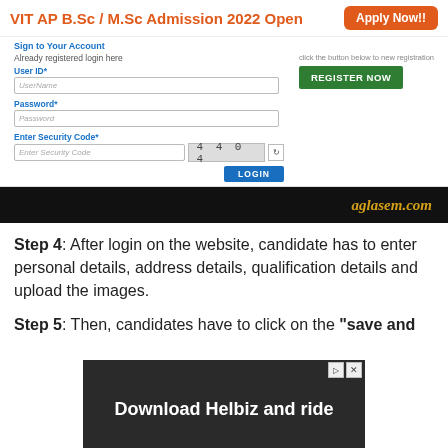[Figure (screenshot): VIT AP B.Sc / M.Sc Admission 2022 Open banner with Apply Now!! button in orange]
[Figure (screenshot): Login form with User ID, Password, Enter Security Code fields, CAPTCHA showing 4404, REGISTER NOW green button, and LOGIN blue button]
[Figure (screenshot): aglasem.com black banner with gold italic text]
Step 4: After login on the website, candidate has to enter personal details, address details, qualification details and upload the images.
Step 5: Then, candidates have to click on the “save and
[Figure (screenshot): Advertisement showing Download Helbiz and ride with scooter image]